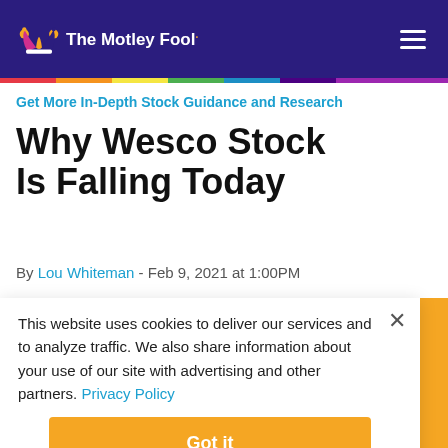The Motley Fool
Get More In-Depth Stock Guidance and Research
Why Wesco Stock Is Falling Today
By Lou Whiteman - Feb 9, 2021 at 1:00PM
This website uses cookies to deliver our services and to analyze traffic. We also share information about your use of our site with advertising and other partners. Privacy Policy
Got it
Cookie Settings